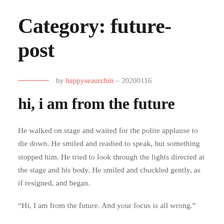Category: future-post
by happyseaurchin – 20200116
hi, i am from the future
He walked on stage and waited for the polite applause to die down. He smiled and readied to speak, but something stopped him. He tried to look through the lights directed at the stage and his body. He smiled and chuckled gently, as if resigned, and began.
“Hi, I am from the future. And your focus is all wrong.”
He smiled warmly, his direct verbal confrontation juxtaposed strongly